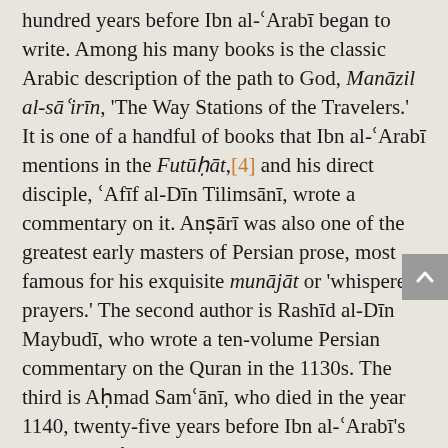hundred years before Ibn al-'Arabī began to write. Among his many books is the classic Arabic description of the path to God, Manāzil al-sā'irīn, 'The Way Stations of the Travelers.' It is one of a handful of books that Ibn al-'Arabī mentions in the Futūḥāt,[4] and his direct disciple, 'Afīf al-Dīn Tilimsānī, wrote a commentary on it. Anṣārī was also one of the greatest early masters of Persian prose, most famous for his exquisite munājāt or 'whispered prayers.' The second author is Rashīd al-Dīn Maybudī, who wrote a ten-volume Persian commentary on the Quran in the 1130s. The third is Aḥmad Sam'ānī, who died in the year 1140, twenty-five years before Ibn al-'Arabī's birth. He left us with what is probably the longest and most comprehensive explanation of divine love in Persian, though it is ostensibly a commentary on the names of God.[5]